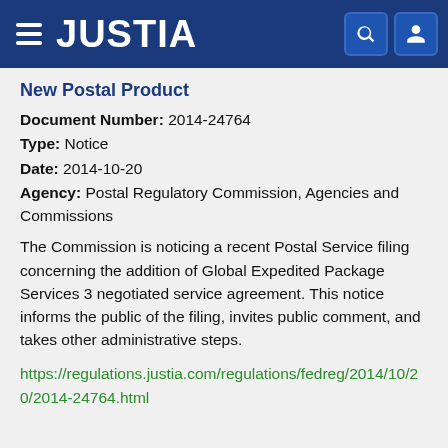JUSTIA
New Postal Product
Document Number: 2014-24764
Type: Notice
Date: 2014-10-20
Agency: Postal Regulatory Commission, Agencies and Commissions
The Commission is noticing a recent Postal Service filing concerning the addition of Global Expedited Package Services 3 negotiated service agreement. This notice informs the public of the filing, invites public comment, and takes other administrative steps.
https://regulations.justia.com/regulations/fedreg/2014/10/20/2014-24764.html